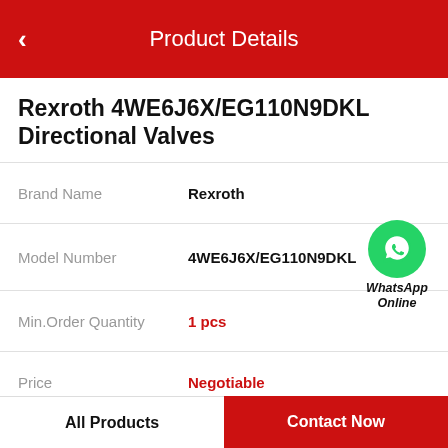Product Details
Rexroth 4WE6J6X/EG110N9DKL Directional Valves
| Field | Value |
| --- | --- |
| Brand Name | Rexroth |
| Model Number | 4WE6J6X/EG110N9DKL |
| Min.Order Quantity | 1 pcs |
| Price | Negotiable |
[Figure (logo): WhatsApp Online green circle icon with phone handset, labeled WhatsApp Online]
Product Features
All Products   Contact Now